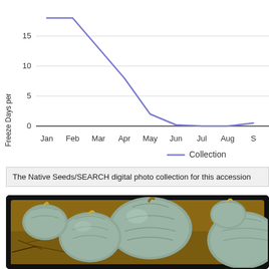[Figure (line-chart): Freeze Days per Month]
The Native Seeds/SEARCH digital photo collection for this accession
[Figure (photo): Photo of blue/grey squash or gourds piled together on dry ground with straw]